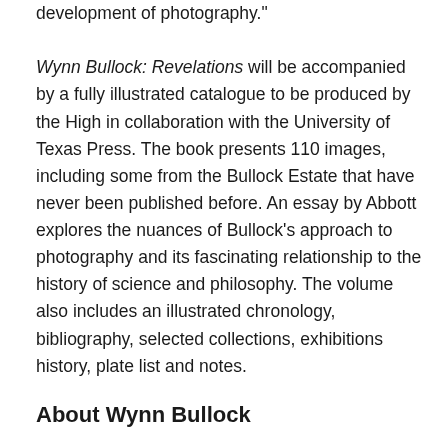development of photography."

Wynn Bullock: Revelations will be accompanied by a fully illustrated catalogue to be produced by the High in collaboration with the University of Texas Press. The book presents 110 images, including some from the Bullock Estate that have never been published before. An essay by Abbott explores the nuances of Bullock’s approach to photography and its fascinating relationship to the history of science and philosophy. The volume also includes an illustrated chronology, bibliography, selected collections, exhibitions history, plate list and notes.
About Wynn Bullock